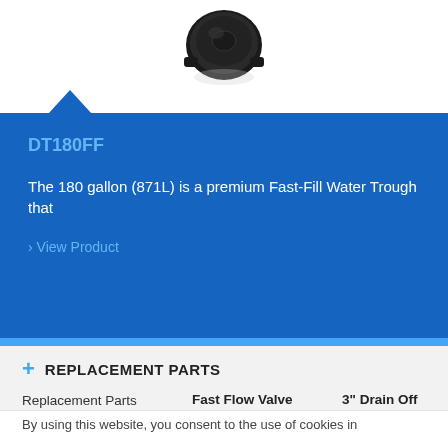[Figure (photo): Black circular cap/valve component photographed from above against white background]
DT180FF
The 180 gallon (871L) is a premium Fast-Fill Water Trough that
> View Product
+ REPLACEMENT PARTS
| Replacement Parts Available | Fast Flow Valve | 3" Drain Off |
| --- | --- | --- |
By using this website, you consent to the use of cookies in